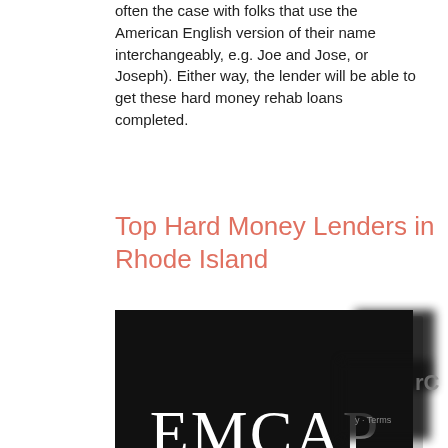often the case with folks that use the American English version of their name interchangeably, e.g. Joe and Jose, or Joseph). Either way, the lender will be able to get these hard money rehab loans completed.
Top Hard Money Lenders in Rhode Island
[Figure (logo): EMCAP logo — white serif text reading EMCAP on a black rectangular background, with a blurred black square partially overlapping the top-right corner of the card]